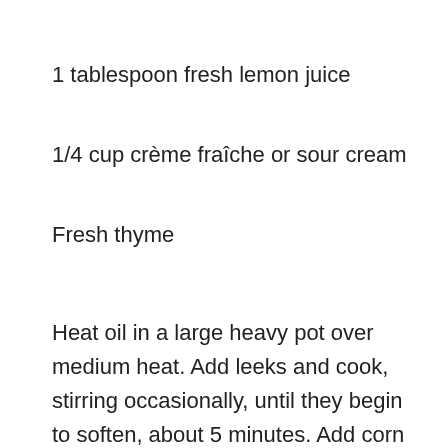1 tablespoon fresh lemon juice
1/4 cup crème fraîche or sour cream
Fresh thyme
Heat oil in a large heavy pot over medium heat. Add leeks and cook, stirring occasionally, until they begin to soften, about 5 minutes. Add corn kernels, reserved cobs, potato, and stock. Season lightly with